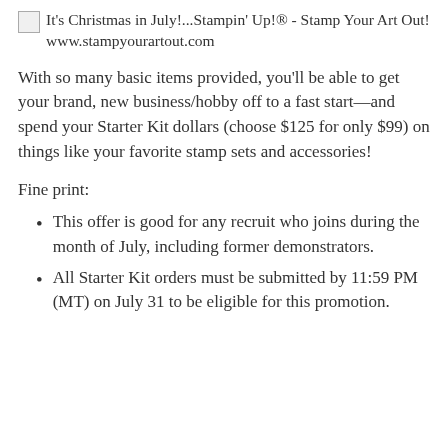[Figure (logo): Broken image placeholder with alt text: It's Christmas in July!...Stampin' Up!® - Stamp Your Art Out! www.stampyourartout.com]
With so many basic items provided, you'll be able to get your brand, new business/hobby off to a fast start—and spend your Starter Kit dollars (choose $125 for only $99) on things like your favorite stamp sets and accessories!
Fine print:
This offer is good for any recruit who joins during the month of July, including former demonstrators.
All Starter Kit orders must be submitted by 11:59 PM (MT) on July 31 to be eligible for this promotion.